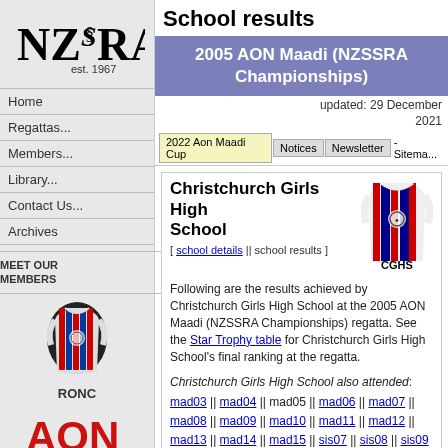[Figure (logo): NZSSRA est. 1967 logo]
Home
Regattas...
Members...
Library...
Contact Us...
Archives
MEET OUR MEMBERS
[Figure (logo): RONC rowing club logo with vertical stripes in red and blue]
RONC
[Figure (logo): AON logo in red text]
School results
2005 AON Maadi (NZSSRA Championships)
updated: 29 December 2021
2022 Aon Maadi Cup | Notices | Newsletter | - Sitema...
Christchurch Girls High School
[ school details || school results ]
Following are the results achieved by Christchurch Girls High School at the 2005 AON Maadi (NZSSRA Championships) regatta. See the Star Trophy table for Christchurch Girls High School's final ranking at the regatta.
Christchurch Girls High School also attended: mad03 || mad04 || mad05 || mad06 || mad07 || mad08 || mad09 || mad10 || mad11 || mad12 || mad13 || mad14 || mad15 || sis07 || sis08 || sis09 || sis11 || sis12 || sis13 || sis14 || sis15